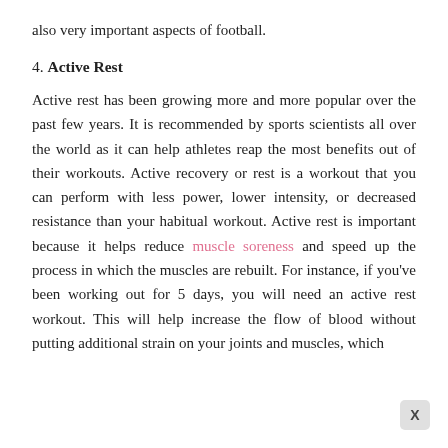also very important aspects of football.
4. Active Rest
Active rest has been growing more and more popular over the past few years. It is recommended by sports scientists all over the world as it can help athletes reap the most benefits out of their workouts. Active recovery or rest is a workout that you can perform with less power, lower intensity, or decreased resistance than your habitual workout. Active rest is important because it helps reduce muscle soreness and speed up the process in which the muscles are rebuilt. For instance, if you’ve been working out for 5 days, you will need an active rest workout. This will help increase the flow of blood without putting additional strain on your joints and muscles, which